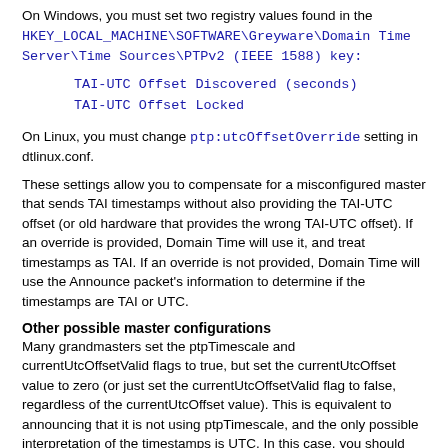On Windows, you must set two registry values found in the HKEY_LOCAL_MACHINE\SOFTWARE\Greyware\Domain Time Server\Time Sources\PTPv2 (IEEE 1588) key:
TAI-UTC Offset Discovered (seconds)
TAI-UTC Offset Locked
On Linux, you must change ptp:utcOffsetOverride setting in dtlinux.conf.
These settings allow you to compensate for a misconfigured master that sends TAI timestamps without also providing the TAI-UTC offset (or old hardware that provides the wrong TAI-UTC offset). If an override is provided, Domain Time will use it, and treat timestamps as TAI. If an override is not provided, Domain Time will use the Announce packet's information to determine if the timestamps are TAI or UTC.
Other possible master configurations
Many grandmasters set the ptpTimescale and currentUtcOffsetValid flags to true, but set the currentUtcOffset value to zero (or just set the currentUtcOffsetValid flag to false, regardless of the currentUtcOffset value). This is equivalent to announcing that it is not using ptpTimescale, and the only possible interpretation of the timestamps is UTC. In this case, you should set Domain Time to set the TAI-UTC offset to zero.
Some masters allow either the currentUtcOffsetValid flag to be false, or the currentUtcOffset value to be zero. This violates the 1588 standard, but convention says it means the timestamps are in UTC, and that the TAI-UTC offset does not apply. If the master is actually sending TAI